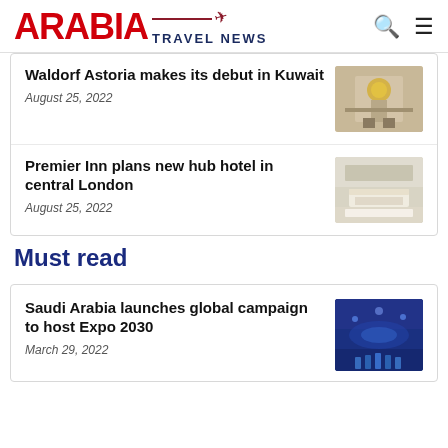ARABIA TRAVEL NEWS
Waldorf Astoria makes its debut in Kuwait
August 25, 2022
[Figure (photo): Luxury hotel lobby interior with gold clock and blue decor]
Premier Inn plans new hub hotel in central London
August 25, 2022
[Figure (photo): Hotel bedroom with modern decor and white bedding]
Must read
Saudi Arabia launches global campaign to host Expo 2030
March 29, 2022
[Figure (photo): Blue-lit aerial/event scene related to Saudi Arabia Expo 2030 campaign]